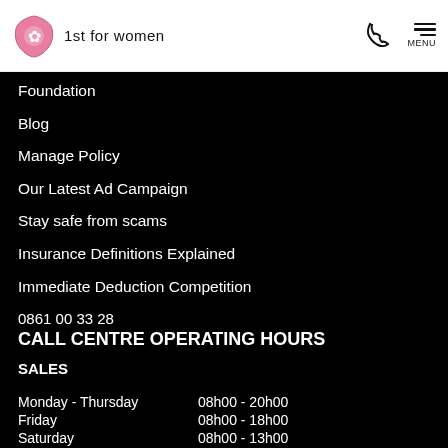1st for women
Foundation
Blog
Manage Policy
Our Latest Ad Campaign
Stay safe from scams
Insurance Definitions Explained
Immediate Deduction Competition
0861 00 33 28
CALL CENTRE OPERATING HOURS
SALES
| Day | Hours |
| --- | --- |
| Monday - Thursday | 08h00 - 20h00 |
| Friday | 08h00 - 18h00 |
| Saturday | 08h00 - 13h00 |
| Sunday | Closed |
| Public Holiday | 08h00 - 13h00 |